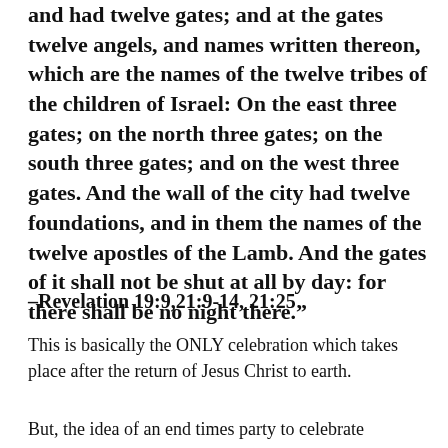and had twelve gates; and at the gates twelve angels, and names written thereon, which are the names of the twelve tribes of the children of Israel: On the east three gates; on the north three gates; on the south three gates; and on the west three gates. And the wall of the city had twelve foundations, and in them the names of the twelve apostles of the Lamb. And the gates of it shall not be shut at all by day: for there shall be no night there.”
–Revelation 19:9,21:9-14, 21:25
This is basically the ONLY celebration which takes place after the return of Jesus Christ to earth.
But, the idea of an end times party to celebrate